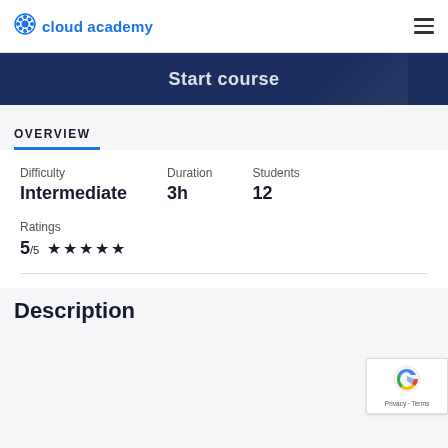cloud academy
Start course
OVERVIEW
Difficulty
Intermediate
Duration
3h
Students
12
Ratings
5/5 ★★★★★
Description